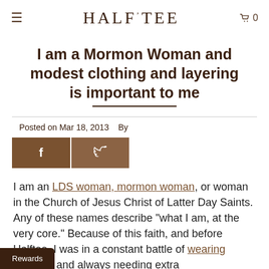≡  HALFTEE  🛒 0
I am a Mormon Woman and modest clothing and layering is important to me
Posted on Mar 18, 2013   By
[Figure (other): Social sharing buttons: Facebook (f) and Twitter (bird icon), brown background]
I am an LDS woman, mormon woman, or woman in the Church of Jesus Christ of Latter Day Saints. Any of these names describe "what I am, at the very core." Because of this faith, and before Halftee, I was in a constant battle of wearing fashions and always needing extra